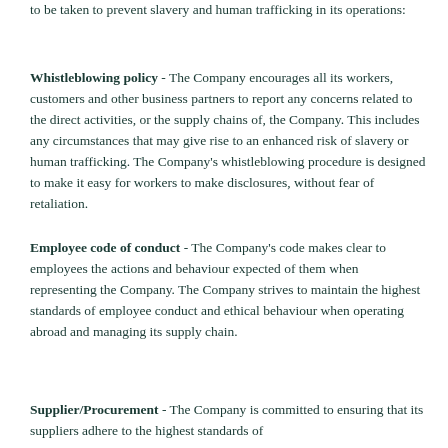to be taken to prevent slavery and human trafficking in its operations:
Whistleblowing policy - The Company encourages all its workers, customers and other business partners to report any concerns related to the direct activities, or the supply chains of, the Company. This includes any circumstances that may give rise to an enhanced risk of slavery or human trafficking. The Company's whistleblowing procedure is designed to make it easy for workers to make disclosures, without fear of retaliation.
Employee code of conduct - The Company's code makes clear to employees the actions and behaviour expected of them when representing the Company. The Company strives to maintain the highest standards of employee conduct and ethical behaviour when operating abroad and managing its supply chain.
Supplier/Procurement - The Company is committed to ensuring that its suppliers adhere to the highest standards of